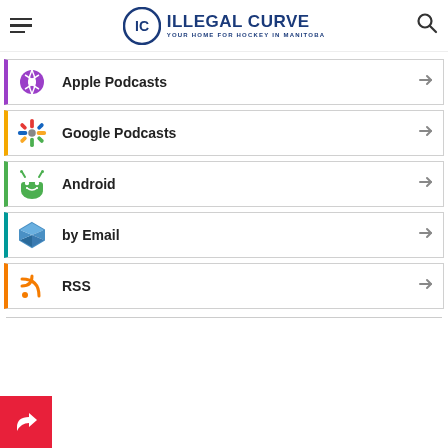ILLEGAL CURVE — YOUR HOME FOR HOCKEY IN MANITOBA
Apple Podcasts
Google Podcasts
Android
by Email
RSS